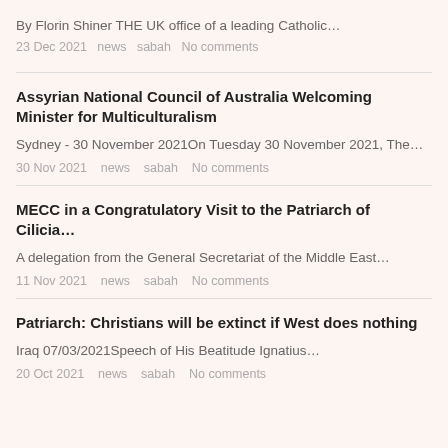By Florin Shiner THE UK office of a leading Catholic…
23 Dec 2021   news   sabah   No comments
Assyrian National Council of Australia Welcoming Minister for Multiculturalism
Sydney - 30 November 2021On Tuesday 30 November 2021, The…
30 Nov 2021   news   sabah   No comments
MECC in a Congratulatory Visit to the Patriarch of Cilicia…
A delegation from the General Secretariat of the Middle East…
11 Nov 2021   news   sabah   No comments
Patriarch: Christians will be extinct if West does nothing
Iraq 07/03/2021Speech of His Beatitude Ignatius…
20 Oct 2021   news   sabah   No comments